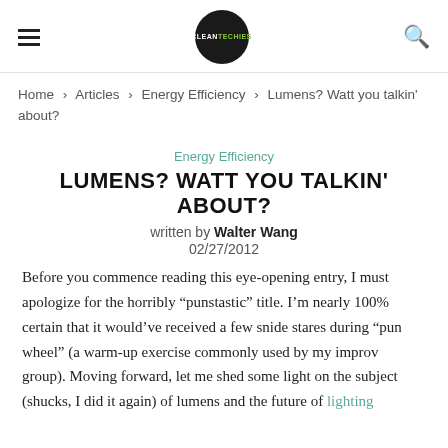CLEANTECHIES logo header with hamburger menu and search icon
Home > Articles > Energy Efficiency > Lumens? Watt you talkin' about?
Energy Efficiency
LUMENS? WATT YOU TALKIN' ABOUT?
written by Walter Wang
02/27/2012
Before you commence reading this eye-opening entry, I must apologize for the horribly “punstastic” title. I’m nearly 100% certain that it would’ve received a few snide stares during “pun wheel” (a warm-up exercise commonly used by my improv group). Moving forward, let me shed some light on the subject (shucks, I did it again) of lumens and the future of lighting